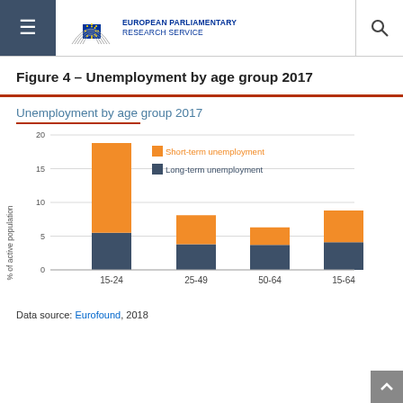European Parliamentary Research Service
Figure 4 – Unemployment by age group 2017
Unemployment by age group 2017
[Figure (stacked-bar-chart): Unemployment by age group 2017]
Data source: Eurofound, 2018